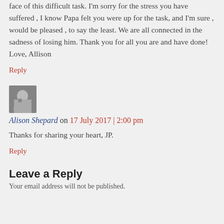face of this difficult task. I'm sorry for the stress you have suffered , I know Papa felt you were up for the task, and I'm sure , would be pleased , to say the least. We are all connected in the sadness of losing him. Thank you for all you are and have done! Love, Allison
Reply
[Figure (photo): Small square avatar photo of a woman]
Alison Shepard on 17 July 2017 | 2:00 pm
Thanks for sharing your heart, JP.
Reply
Leave a Reply
Your email address will not be published.